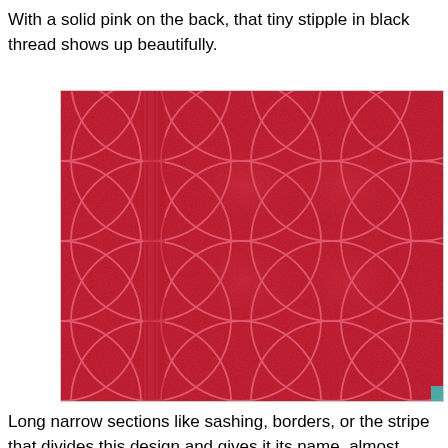With a solid pink on the back, that tiny stipple in black thread shows up beautifully.
[Figure (photo): Close-up photograph of the back of a quilt showing solid pink fabric with a repeating overlapping circles (orange peel) quilting pattern stitched in black thread, with a narrow vertical stripe/sashing visible on the left side.]
Long narrow sections like sashing, borders, or the stripe that divides this design and gives it its name, almost always end up quilted with wishbones. They're quick, simple and so